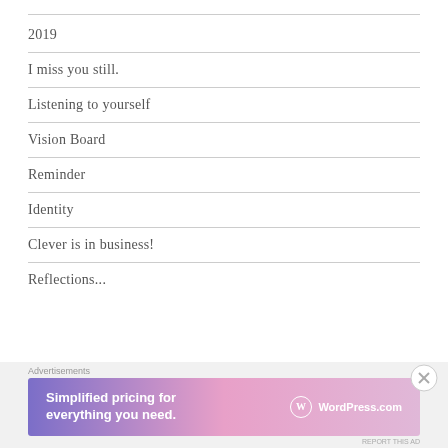2019
I miss you still.
Listening to yourself
Vision Board
Reminder
Identity
Clever is in business!
Reflections...
Advertisements
[Figure (other): WordPress.com advertisement banner: 'Simplified pricing for everything you need.' with WordPress.com logo on gradient purple-pink background. Close button (X) in bottom-right corner.]